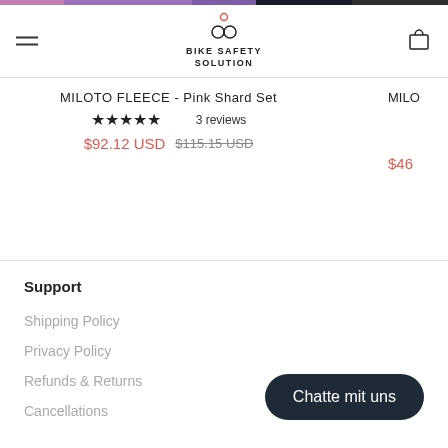[Figure (logo): Bike Safety Solution logo with two circles and a dot on top]
MILOTO FLEECE - Pink Shard Set
5 stars 3 reviews
$92.12 USD  $115.15 USD
MILO...
$46...
Support
Shipping Policy
Privacy Policy
Refunds & Returns
Cancellations
Chatte mit uns